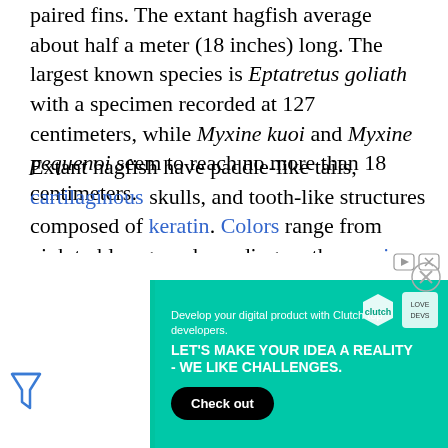paired fins. The extant hagfish average about half a meter (18 inches) long. The largest known species is Eptatretus goliath with a specimen recorded at 127 centimeters, while Myxine kuoi and Myxine pequenoi seem to reach no more than 18 centimeters.
Extant hagfish have paddle-like tails, cartilaginous skulls, and tooth-like structures composed of keratin. Colors range from pink to blue-gray depending on the species, and may include black or white spots. Eyes may be vestigial or absent. Hagfish have no true fins and have six barbels around the mouth and a single nostril. Instead of vertically articulating jaws like Gnathostomata (vertebrates with jaws), they have a pair of horizontally moving structures with tooth-like projections for pulling off food.
The cir[culation system has...] oth closed [...] that is more p[rimitive...]
[Figure (other): Advertisement overlay: Clutch top developers ad with green background, text 'Develop your digital product with Clutch top developers. LET'S MAKE YOUR IDEA A REALITY - WE LIKE CHALLENGES.' and a 'Check out' button. Close button (X) in top right. Ad label icons top right. Filter icon bottom left.]